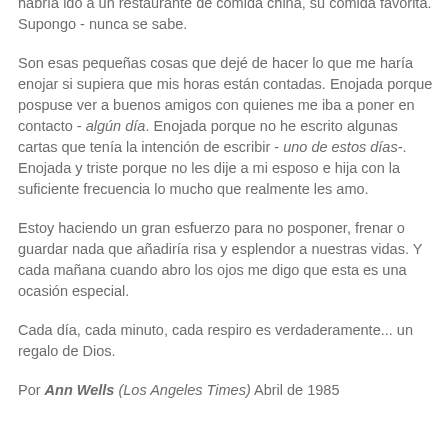hacer las paces por antiguas rencillas. Me gusta pensar que habría ido a un restaurante de comida china, su comida favorita. Supongo - nunca se sabe.
Son esas pequeñas cosas que dejé de hacer lo que me haría enojar si supiera que mis horas están contadas. Enojada porque pospuse ver a buenos amigos con quienes me iba a poner en contacto - algún día. Enojada porque no he escrito algunas cartas que tenía la intención de escribir - uno de estos días-. Enojada y triste porque no les dije a mi esposo e hija con la suficiente frecuencia lo mucho que realmente les amo.
Estoy haciendo un gran esfuerzo para no posponer, frenar o guardar nada que añadiría risa y esplendor a nuestras vidas. Y cada mañana cuando abro los ojos me digo que esta es una ocasión especial.
Cada día, cada minuto, cada respiro es verdaderamente... un regalo de Dios.
Por Ann Wells (Los Angeles Times) Abril de 1985